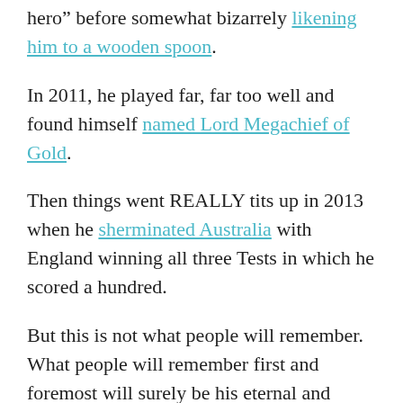hero” before somewhat bizarrely likening him to a wooden spoon.
In 2011, he played far, far too well and found himself named Lord Megachief of Gold.
Then things went REALLY tits up in 2013 when he sherminated Australia with England winning all three Tests in which he scored a hundred.
But this is not what people will remember. What people will remember first and foremost will surely be his eternal and irrepressible Ian Bell-ness.
A case in point: in his final summer of Test cricket,